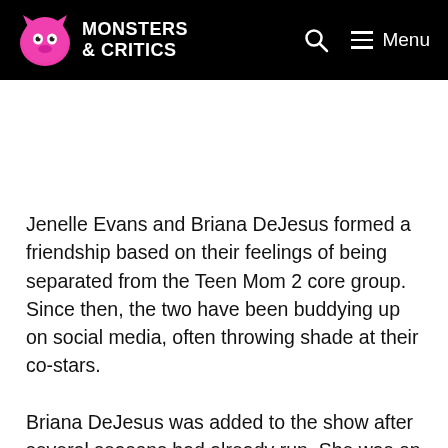MONSTERS & CRITICS
Jenelle Evans and Briana DeJesus formed a friendship based on their feelings of being separated from the Teen Mom 2 core group. Since then, the two have been buddying up on social media, often throwing shade at their co-stars.
Briana DeJesus was added to the show after several seasons had already run. She was on